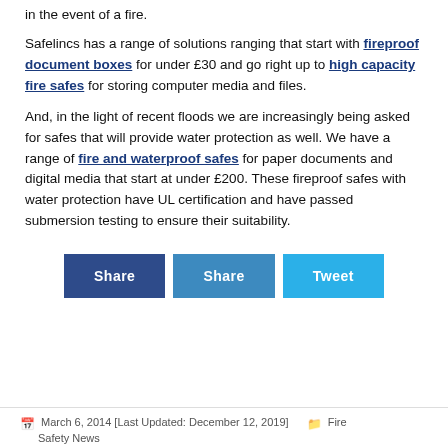in the event of a fire.
Safelincs has a range of solutions ranging that start with fireproof document boxes for under £30 and go right up to high capacity fire safes for storing computer media and files.
And, in the light of recent floods we are increasingly being asked for safes that will provide water protection as well. We have a range of fire and waterproof safes for paper documents and digital media that start at under £200. These fireproof safes with water protection have UL certification and have passed submersion testing to ensure their suitability.
[Figure (other): Three social sharing buttons: Share (dark blue), Share (medium blue), Tweet (light blue)]
March 6, 2014 [Last Updated: December 12, 2019]  Fire Safety News